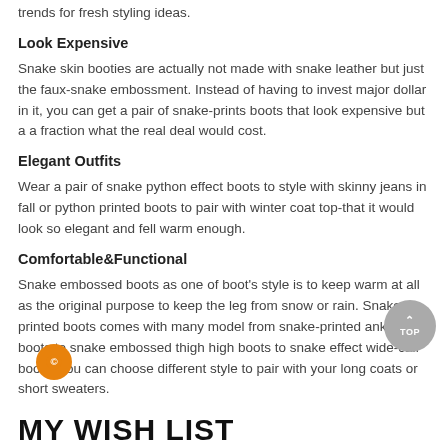fashioner's outlook. They're very stand out as the fall/winter shoe trends for fresh styling ideas.
Look Expensive
Snake skin booties are actually not made with snake leather but just the faux-snake embossment. Instead of having to invest major dollar in it, you can get a pair of snake-prints boots that look expensive but a a fraction what the real deal would cost.
Elegant Outfits
Wear a pair of snake python effect boots to style with skinny jeans in fall or python printed boots to pair with winter coat top-that it would look so elegant and fell warm enough.
Comfortable&Functional
Snake embossed boots as one of boot's style is to keep warm at all as the original purpose to keep the leg from snow or rain. Snake printed boots comes with many model from snake-printed ankle boots to snake embossed thigh high boots to snake effect wide-calf boots. You can choose different style to pair with your long coats or short sweaters.
MY WISH LIST